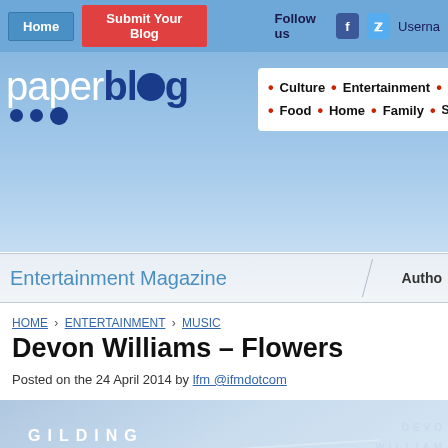Home | Submit Your Blog | Follow us | Username
[Figure (logo): paperblog logo with white 'paper' and dark blue 'blog' text and dark blue dots]
Culture · Entertainment · So... · Food · Home · Family · S...
Entertainment Magazine | Author
HOME › ENTERTAINMENT › MUSIC
Devon Williams – Flowers
Posted on the 24 April 2014 by lfm @ifmdotcom
[Figure (photo): Album art showing 'Gilding The' text on left and 'Devon Williams' on right on a light blue cloudy background]